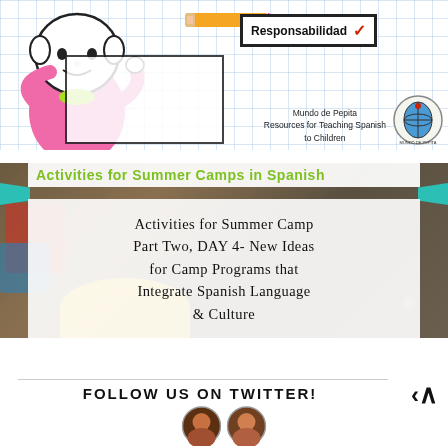[Figure (illustration): Illustration of a cartoon child (Pepita) holding a piece of paper with 'Responsabilidad' written on it with a red checkmark, on a light blue grid background. Includes 'Mundo de Pepita – Resources for Teaching Spanish to Children' branding and logo.]
[Figure (photo): Photo background of a summer camp scene with children's hands/craft items, overlaid with a banner reading 'Activities for Summer Camps in Spanish' in green text and a white text box reading 'Activities for Summer Camp Part Two, DAY 4- New Ideas for Camp Programs that Integrate Spanish Language & Culture'.]
FOLLOW US ON TWITTER!